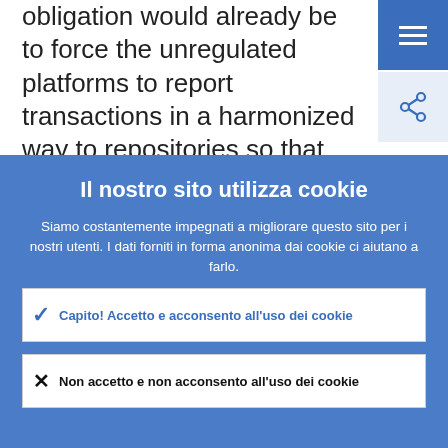obligation would already be to force the unregulated platforms to report transactions in a harmonized way to repositories so that we would have access to information also in order to create a
Il nostro sito utilizza cookie
Siamo costantemente impegnati a migliorare questo sito per i nostri utenti. I dati forniti in forma anonima dai cookie ci aiutano a farlo.
Per saperne di più su come utilizziamo i cookie
Capito! Accetto e acconsento all'uso dei cookie
Non accetto e non acconsento all'uso dei cookie